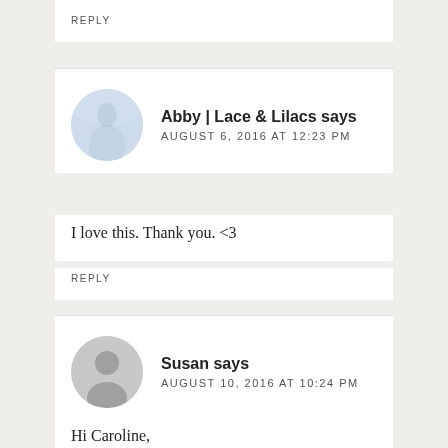REPLY
Abby | Lace & Lilacs says
AUGUST 6, 2016 AT 12:23 PM
I love this. Thank you. <3
REPLY
Susan says
AUGUST 10, 2016 AT 10:24 PM
Hi Caroline,